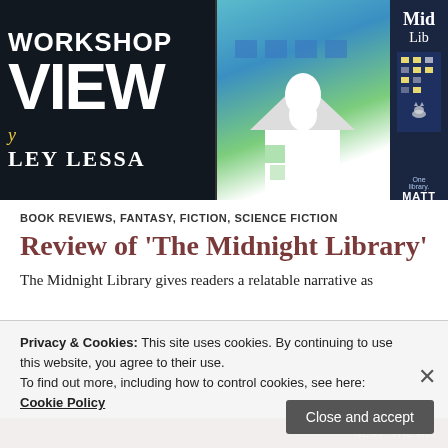[Figure (photo): Banner image composed of three panels: left panel shows dark background with 'WORKSHOP VIEW' text in large white bold font and author byline 'LEY LESSA' in yellow italic and white; middle panel shows a colorful illustrated book cover with geometric house shapes in teal, green and white tones with a white bird/ghost figure; right panel shows partial cover of 'The Midnight Library' by Matt Haig on dark navy background.]
BOOK REVIEWS, FANTASY, FICTION, SCIENCE FICTION
Review of 'The Midnight Library'
The Midnight Library gives readers a relatable narrative as
Privacy & Cookies: This site uses cookies. By continuing to use this website, you agree to their use.
To find out more, including how to control cookies, see here: Cookie Policy
Close and accept